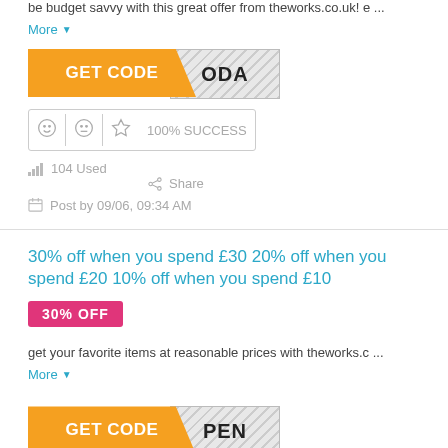be budget savvy with this great offer from theworks.co.uk! e ...
More ▾
[Figure (other): Orange GET CODE button with diagonal cut and hatched code area showing 'ODA']
100% SUCCESS
104 Used    Share
Post by 09/06, 09:34 AM
30% off when you spend £30 20% off when you spend £20 10% off when you spend £10
30% OFF
get your favorite items at reasonable prices with theworks.c ...
More ▾
[Figure (other): Orange GET CODE button with diagonal cut and hatched code area showing 'PEN']